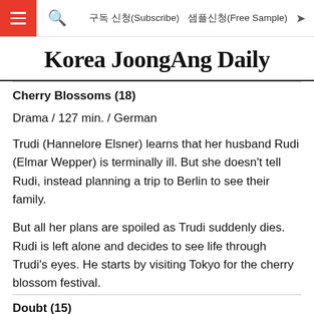≡  🔍  구독 신청(Subscribe)  샘플신청(Free Sample)  ➤
Korea JoongAng Daily
Cherry Blossoms (18)
Drama / 127 min. / German
Trudi (Hannelore Elsner) learns that her husband Rudi (Elmar Wepper) is terminally ill. But she doesn't tell Rudi, instead planning a trip to Berlin to see their family.
But all her plans are spoiled as Trudi suddenly dies. Rudi is left alone and decides to see life through Trudi's eyes. He starts by visiting Tokyo for the cherry blossom festival.
Doubt (15)